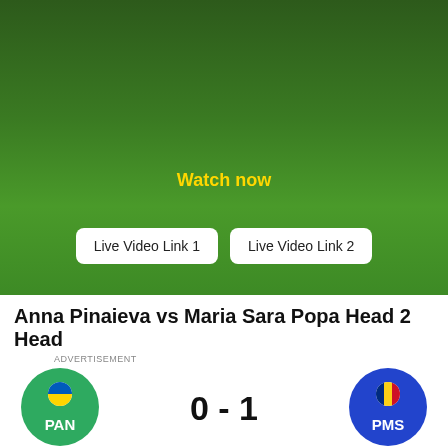[Figure (screenshot): Green gradient banner with 'Watch now' text in yellow and two white buttons: 'Live Video Link 1' and 'Live Video Link 2']
Anna Pinaieva vs Maria Sara Popa Head 2 Head
ADVERTISEMENT
[Figure (infographic): Score display: PAN badge (green circle with Ukraine flag icon) on left, score '0 - 1' in center, PMS badge (blue circle with Romania flag icon) on right]